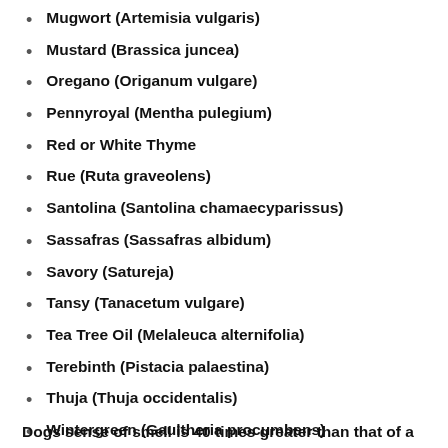Mugwort (Artemisia vulgaris)
Mustard (Brassica juncea)
Oregano (Origanum vulgare)
Pennyroyal (Mentha pulegium)
Red or White Thyme
Rue (Ruta graveolens)
Santolina (Santolina chamaecyparissus)
Sassafras (Sassafras albidum)
Savory (Satureja)
Tansy (Tanacetum vulgare)
Tea Tree Oil (Melaleuca alternifolia)
Terebinth (Pistacia palaestina)
Thuja (Thuja occidentalis)
Wintergreen (Gaultheria procumbens)
Wormwood (Artemisia absinthium)
Yarrow (Achillea millefolium)
Dogs sense of smell is 40 times greater than that of a